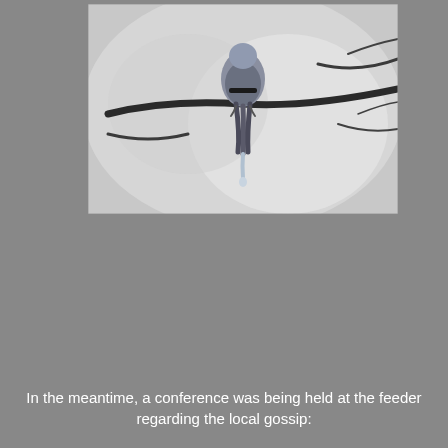[Figure (photo): Black and white photograph of a bird (blue jay) perched on a bare branch in winter, viewed from behind/below, with blurred tree branches in the background and a small icicle visible.]
In the meantime, a conference was being held at the feeder regarding the local gossip: